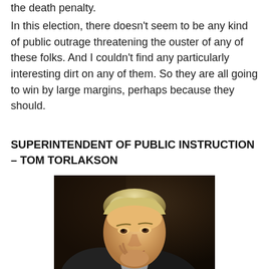the death penalty.
In this election, there doesn't seem to be any kind of public outrage threatening the ouster of any of these folks. And I couldn't find any particularly interesting dirt on any of them. So they are all going to win by large margins, perhaps because they should.
SUPERINTENDENT OF PUBLIC INSTRUCTION – TOM TORLAKSON
[Figure (photo): A man with silver-blonde hair resting his chin on his hand in a thoughtful pose, wearing a dark suit, photographed against a dark background.]